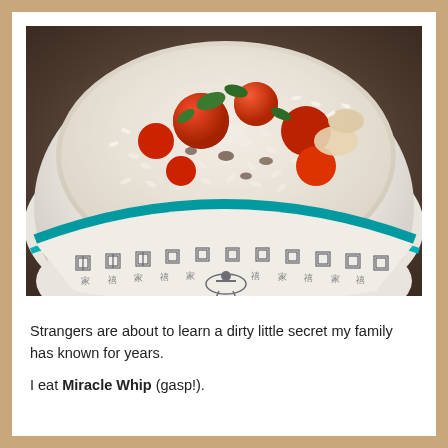[Figure (photo): A Chinese-patterned bowl with teal rim filled with a creamy rice salad topped with halved cherry tomatoes and fresh herbs, sitting on a dark wooden surface.]
Strangers are about to learn a dirty little secret my family has known for years.
I eat Miracle Whip (gasp!).